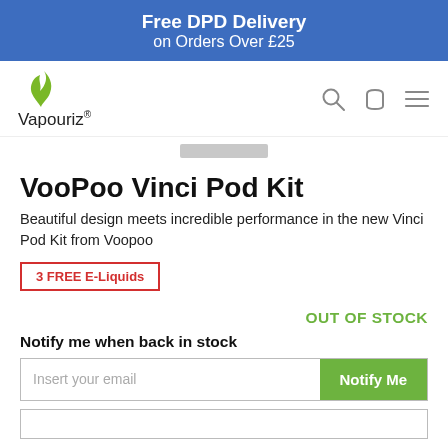Free DPD Delivery on Orders Over £25
[Figure (logo): Vapouriz logo with green flame/smoke icon above text 'Vapouriz®']
VooPoo Vinci Pod Kit
Beautiful design meets incredible performance in the new Vinci Pod Kit from Voopoo
3 FREE E-Liquids
OUT OF STOCK
Notify me when back in stock
Insert your email  Notify Me